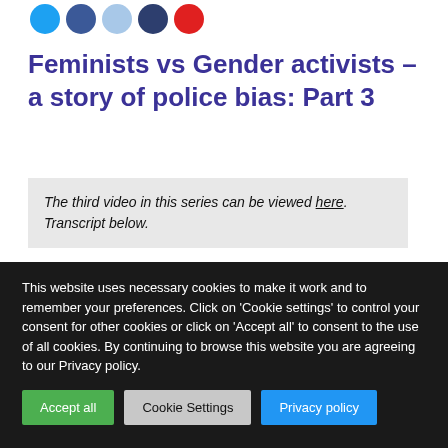[Figure (illustration): Row of five social media share icon circles in blue, blue, light blue, dark blue, and red]
Feminists vs Gender activists – a story of police bias: Part 3
The third video in this series can be viewed here. Transcript below.
Welcome to part 3 of my story about why I reported a bully to the police and what happened when I did. In this part, I am going to talk about the moment...
This website uses necessary cookies to make it work and to remember your preferences. Click on 'Cookie settings' to control your consent for other cookies or click on 'Accept all' to consent to the use of all cookies. By continuing to browse this website you are agreeing to our Privacy policy.